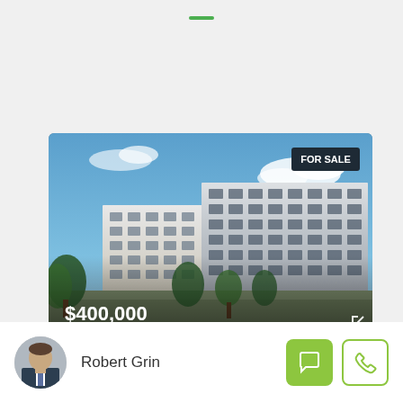[Figure (photo): Modern apartment complex rendering showing two large residential buildings with white facades, blue sky background, green trees in foreground, with 'FOR SALE' badge and $400,000 price overlay]
FOR SALE
$400,000
Robert Grin